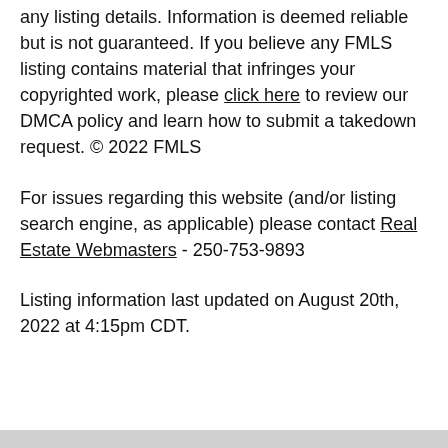any listing details. Information is deemed reliable but is not guaranteed. If you believe any FMLS listing contains material that infringes your copyrighted work, please click here to review our DMCA policy and learn how to submit a takedown request. © 2022 FMLS
For issues regarding this website (and/or listing search engine, as applicable) please contact Real Estate Webmasters - 250-753-9893
Listing information last updated on August 20th, 2022 at 4:15pm CDT.